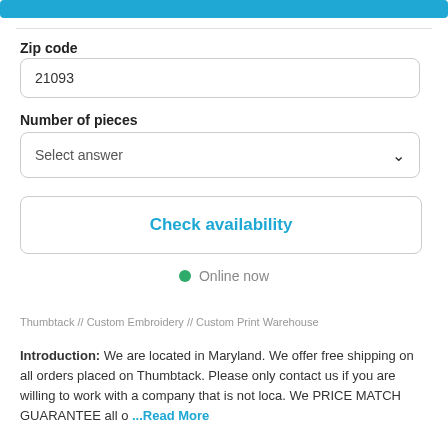[Figure (other): Blue button bar at top of page]
Zip code
21093
Number of pieces
Select answer
Check availability
Online now
Thumbtack // Custom Embroidery // Custom Print Warehouse
Introduction: We are located in Maryland. We offer free shipping on all orders placed on Thumbtack. Please only contact us if you are willing to work with a company that is not loca. We PRICE MATCH GUARANTEE all o ...Read More